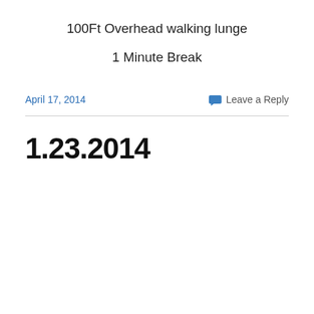100Ft Overhead walking lunge
1 Minute Break
April 17, 2014
Leave a Reply
1.23.2014